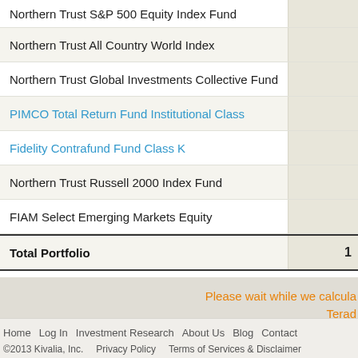| Fund Name | Value |
| --- | --- |
| Northern Trust S&P 500 Equity Index Fund |  |
| Northern Trust All Country World Index |  |
| Northern Trust Global Investments Collective Fund |  |
| PIMCO Total Return Fund Institutional Class |  |
| Fidelity Contrafund Fund Class K |  |
| Northern Trust Russell 2000 Index Fund |  |
| FIAM Select Emerging Markets Equity |  |
| Total Portfolio | 1 |
Please wait while we calcula... Terad...
Home   Log In   Investment Research   About Us   Blog   Contact   ©2013 Kivalia, Inc.   Privacy Policy   Terms of Services & Disclaimer